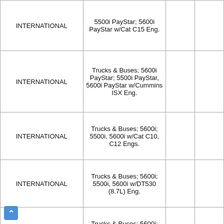|  |  |  |  |
| --- | --- | --- | --- |
| INTERNATIONAL | 5500i PayStar; 5600i PayStar w/Cat C15 Eng. |  |  |
| INTERNATIONAL | Trucks & Buses; 5600i PayStar; 5500i PayStar, 5600i PayStar w/Cummins ISX Eng. |  |  |
| INTERNATIONAL | Trucks & Buses; 5600i; 5500i, 5600i w/Cat C10, C12 Engs. |  |  |
| INTERNATIONAL | Trucks & Buses; 5600i; 5500i, 5600i w/DT530 (8.7L) Eng. |  |  |
| INTERNATIONAL | Trucks & Buses; 5600i; 5600i w/Cummins ISL (8.9L) Eng. |  |  |
| INTERNATIONAL | Trucks & Buses; 5600i; 5600i w/Cummins ISM 10.8 (10.8L) Eng. |  |  |
| INTERNATIONAL | Trucks & Buses; 5900i PayStar; 5900i PayStar w/Cat C13 Eng. |  |  |
| INTERNATIONAL | Trucks & Buses; 5900i PayStar; 5900i PayStar w/Cat C15 Eng. |  |  |